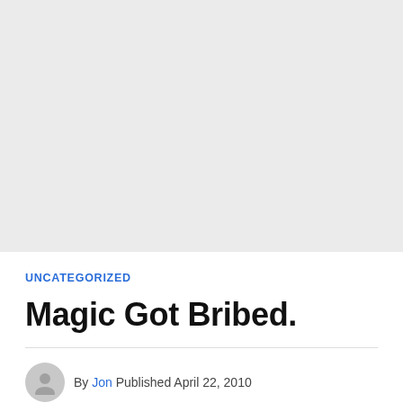[Figure (other): Large grey placeholder banner area at the top of the page]
UNCATEGORIZED
Magic Got Bribed.
By Jon Published April 22, 2010